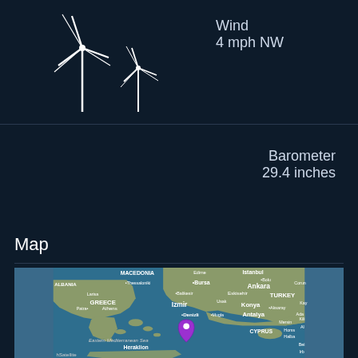[Figure (illustration): Two white wind turbine icons on dark navy background]
Wind
4 mph NW
Barometer
29.4 inches
Map
[Figure (map): Satellite map of Eastern Mediterranean region showing Greece, Turkey, Cyprus, Macedonia, Albania. Cities labeled include Thessaloniki, Bursa, Ankara, Larisa, Balikesir, Eskisehir, TURKEY, Athens, Izmir, Usak, Konya, Aksaray, Patra, Denizli, Mugla, Antalya, Mersin, Heraklion, CYPRUS, Homs, Halba, Bolu, Corun, Kay, Ada, Kili, Al, Bei, Irb. A purple location pin marker is placed in the Aegean Sea south of Izmir. Text reads 'Eastern Mediterranean Sea' and 'Satellite' label at bottom.]